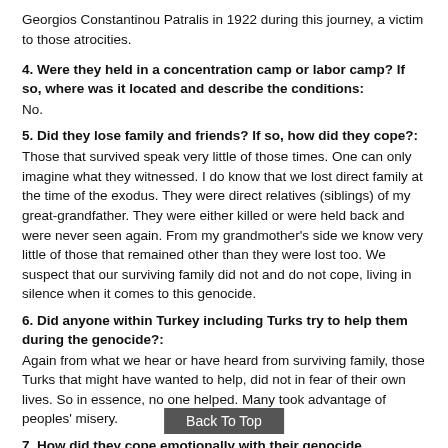Georgios Constantinou Patralis in 1922 during this journey, a victim to those atrocities.
4. Were they held in a concentration camp or labor camp? If so, where was it located and describe the conditions:
No.
5. Did they lose family and friends? If so, how did they cope?:
Those that survived speak very little of those times. One can only imagine what they witnessed. I do know that we lost direct family at the time of the exodus. They were direct relatives (siblings) of my great-grandfather. They were either killed or were held back and were never seen again. From my grandmother's side we know very little of those that remained other than they were lost too. We suspect that our surviving family did not and do not cope, living in silence when it comes to this genocide.
6. Did anyone within Turkey including Turks try to help them during the genocide?:
Again from what we hear or have heard from surviving family, those Turks that might have wanted to help, did not in fear of their own lives. So in essence, no one helped. Many took advantage of peoples' misery.
7. How did they cope emotionally with their genocide experience? Did it affect the remainder of their life?:
Most of our family that remain or are the generation directly following the